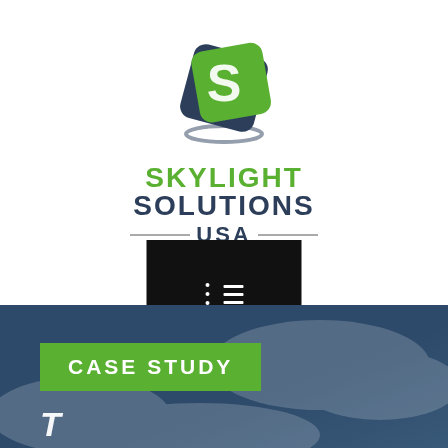[Figure (logo): Skylight Solutions USA logo with green and dark navy stylized S icon and company name text]
[Figure (screenshot): Black navigation bar with hamburger menu icon and list icon on dark background]
[Figure (photo): Dark blue cloudy sky background image]
CASE STUDY
T...